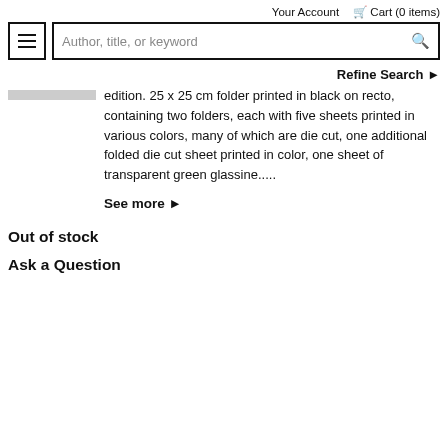Your Account   🛒 Cart (0 items)
Author, title, or keyword
Refine Search ▶
edition. 25 x 25 cm folder printed in black on recto, containing two folders, each with five sheets printed in various colors, many of which are die cut, one additional folded die cut sheet printed in color, one sheet of transparent green glassine.....
See more ▶
Out of stock
Ask a Question